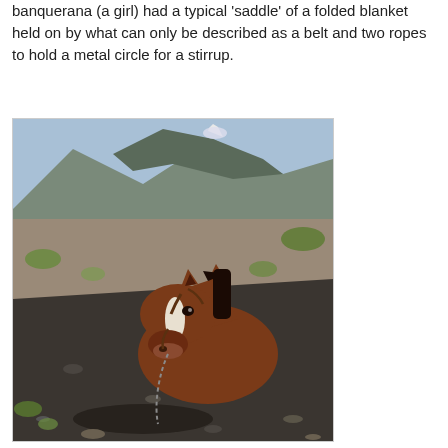banquerana (a girl) had a typical 'saddle' of a folded blanket held on by what can only be described as a belt and two ropes to hold a metal circle for a stirrup.
[Figure (photo): A brown horse with a white blaze on its face, wearing a bridle/halter with a chain lead, standing on rocky volcanic terrain with snow-capped mountain peaks and green patches visible in the background.]